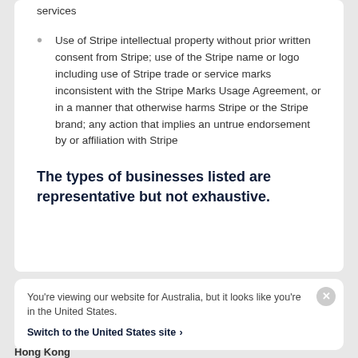services
Use of Stripe intellectual property without prior written consent from Stripe; use of the Stripe name or logo including use of Stripe trade or service marks inconsistent with the Stripe Marks Usage Agreement, or in a manner that otherwise harms Stripe or the Stripe brand; any action that implies an untrue endorsement by or affiliation with Stripe
The types of businesses listed are representative but not exhaustive.
You’re viewing our website for Australia, but it looks like you’re in the United States.
Switch to the United States site ›
Hong Kong